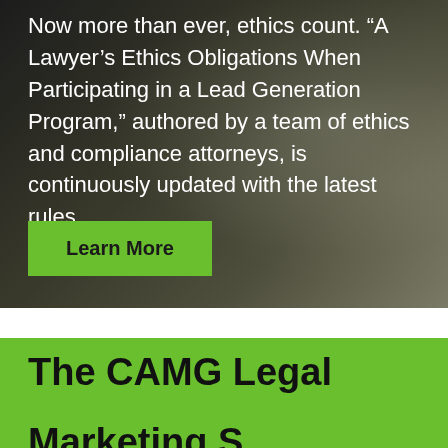[Figure (photo): Dark background image showing brochures/documents, with text overlay about lawyer ethics obligations and a green Learn More button]
Now more than ever, ethics count. “A Lawyer’s Ethics Obligations When Participating in a Lead Generation Program,” authored by a team of ethics and compliance attorneys, is continuously updated with the latest rules.
Learn More
The CAMG Legal